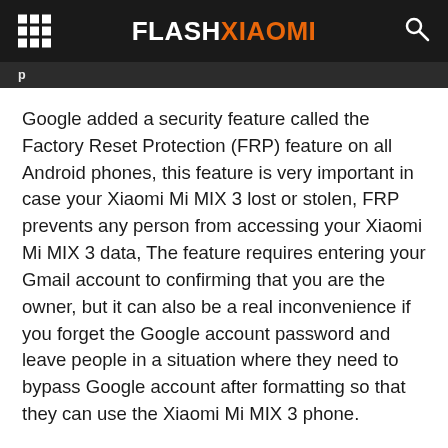FLASHXIAOMI
Google added a security feature called the Factory Reset Protection (FRP) feature on all Android phones, this feature is very important in case your Xiaomi Mi MIX 3 lost or stolen, FRP prevents any person from accessing your Xiaomi Mi MIX 3 data, The feature requires entering your Gmail account to confirming that you are the owner, but it can also be a real inconvenience if you forget the Google account password and leave people in a situation where they need to bypass Google account after formatting so that they can use the Xiaomi Mi MIX 3 phone.
The FRP will be activated automatically on your Xiaomi Mi MIX 3 as soon as you add your Google account to your Xiaomi Mi MIX 3 phone. In case you want to disable it, all